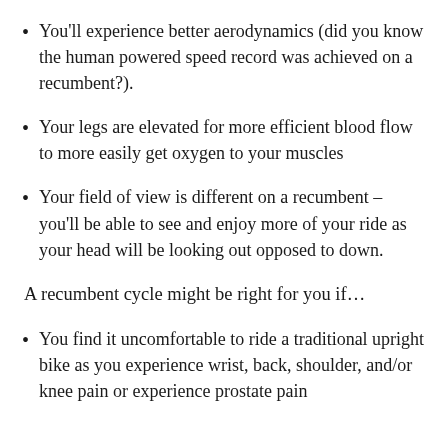You'll experience better aerodynamics (did you know the human powered speed record was achieved on a recumbent?).
Your legs are elevated for more efficient blood flow to more easily get oxygen to your muscles
Your field of view is different on a recumbent – you'll be able to see and enjoy more of your ride as your head will be looking out opposed to down.
A recumbent cycle might be right for you if…
You find it uncomfortable to ride a traditional upright bike as you experience wrist, back, shoulder, and/or knee pain or experience prostate pain